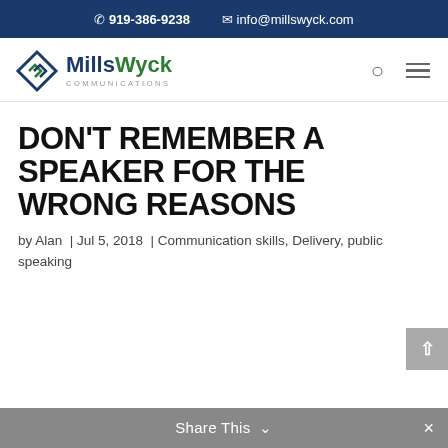919-386-9238  info@millswyck.com
[Figure (logo): MillsWyck Communications logo with diamond/chevron icon in blue and green]
DON'T REMEMBER A SPEAKER FOR THE WRONG REASONS
by Alan | Jul 5, 2018 | Communication skills, Delivery, public speaking
Share This